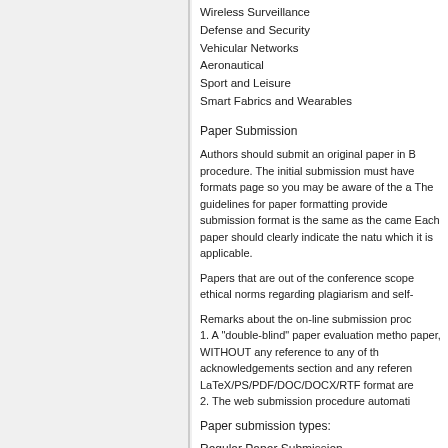Wireless Surveillance
Defense and Security
Vehicular Networks
Aeronautical
Sport and Leisure
Smart Fabrics and Wearables
Paper Submission
Authors should submit an original paper in B procedure. The initial submission must have formats page so you may be aware of the a The guidelines for paper formatting provide submission format is the same as the came Each paper should clearly indicate the natu which it is applicable.
Papers that are out of the conference scope ethical norms regarding plagiarism and self-
Remarks about the on-line submission proc 1. A "double-blind" paper evaluation metho paper, WITHOUT any reference to any of th acknowledgements section and any referen LaTeX/PS/PDF/DOC/DOCX/RTF format are 2. The web submission procedure automati
Paper submission types:
Regular Paper Submission